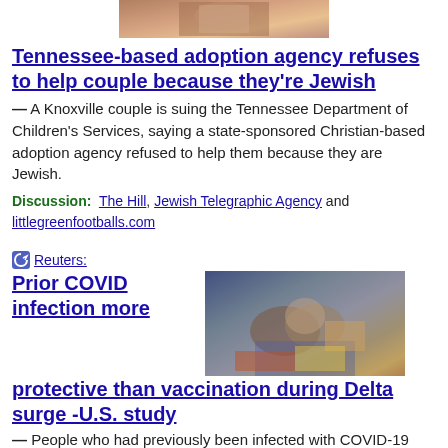[Figure (photo): Partial image of people at top of page, cropped]
Tennessee-based adoption agency refuses to help couple because they're Jewish
— A Knoxville couple is suing the Tennessee Department of Children's Services, saying a state-sponsored Christian-based adoption agency refused to help them because they are Jewish.
Discussion:  The Hill , Jewish Telegraphic Agency and littlegreenfootballs.com
Reuters:
[Figure (photo): Hands reaching, medical/vaccination scene with colorful background]
Prior COVID infection more protective than vaccination during Delta surge -U.S. study
— People who had previously been infected with COVID-19 were better protected against the Delta variant than those who were vaccinated alone, suggesting that